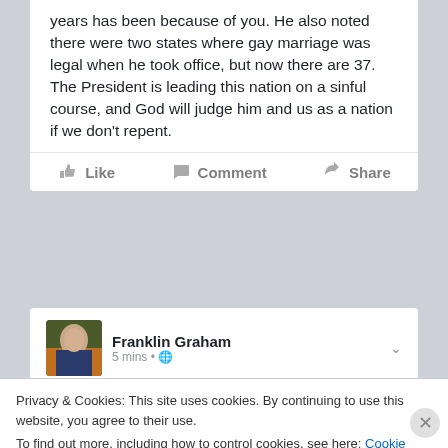years has been because of you. He also noted there were two states where gay marriage was legal when he took office, but now there are 37. The President is leading this nation on a sinful course, and God will judge him and us as a nation if we don't repent.
Franklin Graham
5 mins •
The Supreme Court of the United States has ruled
Privacy & Cookies: This site uses cookies. By continuing to use this website, you agree to their use.
To find out more, including how to control cookies, see here: Cookie Policy
Close and accept